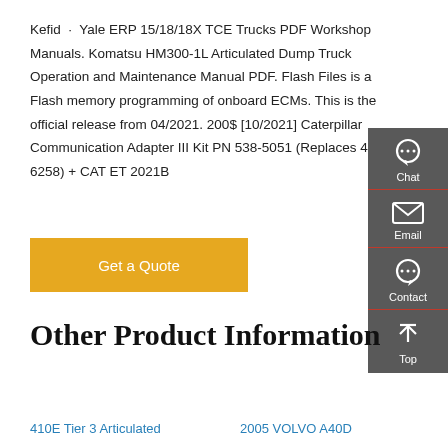Kefid · Yale ERP 15/18/18X TCE Trucks PDF Workshop Manuals. Komatsu HM300-1L Articulated Dump Truck Operation and Maintenance Manual PDF. Flash Files is a Flash memory programming of onboard ECMs. This is the official release from 04/2021. 200$ [10/2021] Caterpillar Communication Adapter III Kit PN 538-5051 (Replaces 466-6258) + CAT ET 2021B
[Figure (other): Orange 'Get a Quote' button]
[Figure (infographic): Dark grey sidebar with Chat, Email, Contact, and Top navigation icons]
Other Product Information
410E Tier 3 Articulated
2005 VOLVO A40D